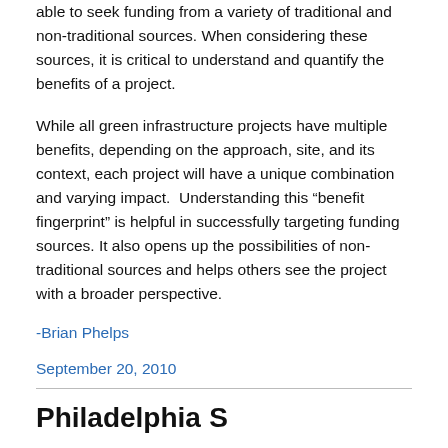able to seek funding from a variety of traditional and non-traditional sources. When considering these sources, it is critical to understand and quantify the benefits of a project.
While all green infrastructure projects have multiple benefits, depending on the approach, site, and its context, each project will have a unique combination and varying impact.  Understanding this “benefit fingerprint” is helpful in successfully targeting funding sources. It also opens up the possibilities of non-traditional sources and helps others see the project with a broader perspective.
-Brian Phelps
September 20, 2010
Philadelphia S